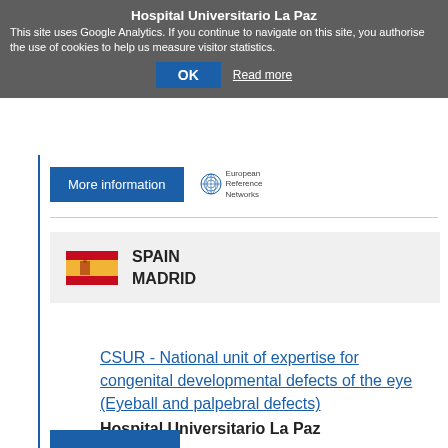Hospital Universitario La Paz
This site uses Google Analytics. If you continue to navigate on this site, you authorise the use of cookies to help us measure visitor statistics.
OK  Read more
[Figure (logo): More information button with European Reference Networks logo]
SPAIN
MADRID
CSUR - National unit of expertise for congenital developmental defects of the eye (Eyeball and palpebral defects)
Hospital Universitario La Paz